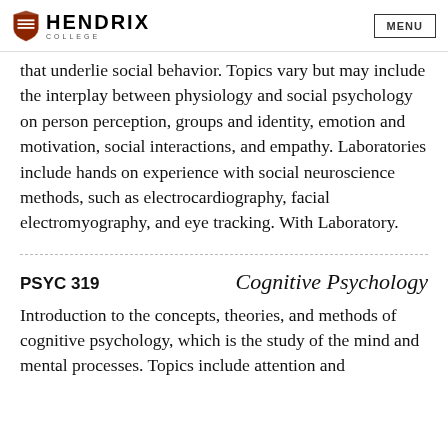Hendrix College | MENU
that underlie social behavior. Topics vary but may include the interplay between physiology and social psychology on person perception, groups and identity, emotion and motivation, social interactions, and empathy. Laboratories include hands on experience with social neuroscience methods, such as electrocardiography, facial electromyography, and eye tracking. With Laboratory.
PSYC 319   Cognitive Psychology
Introduction to the concepts, theories, and methods of cognitive psychology, which is the study of the mind and mental processes. Topics include attention and